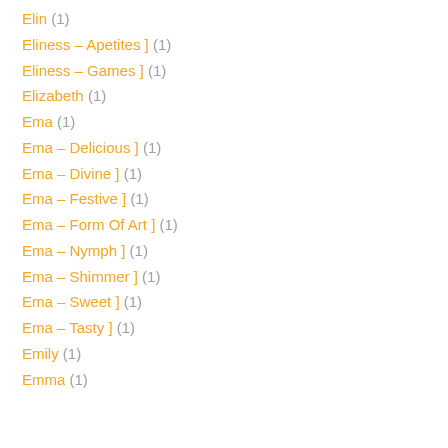Elin (1)
Eliness – Apetites ] (1)
Eliness – Games ] (1)
Elizabeth (1)
Ema (1)
Ema – Delicious ] (1)
Ema – Divine ] (1)
Ema – Festive ] (1)
Ema – Form Of Art ] (1)
Ema – Nymph ] (1)
Ema – Shimmer ] (1)
Ema – Sweet ] (1)
Ema – Tasty ] (1)
Emily (1)
Emma (1)